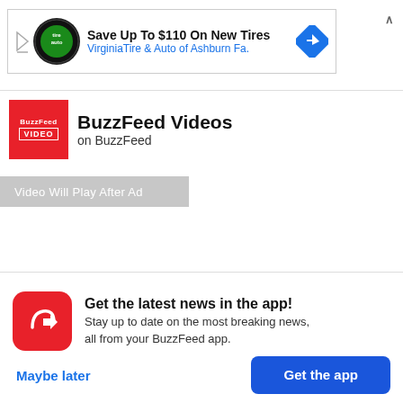[Figure (screenshot): Advertisement banner for Virginia Tire & Auto showing 'Save Up To $110 On New Tires' with a circular logo and blue diamond navigation icon]
BuzzFeed Videos
on BuzzFeed
Video Will Play After Ad
Get the latest news in the app! Stay up to date on the most breaking news, all from your BuzzFeed app.
Maybe later
Get the app